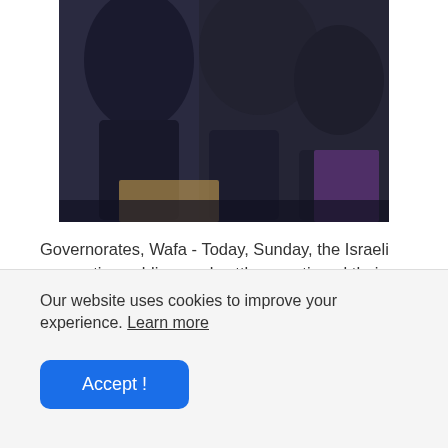[Figure (photo): A dark photograph showing figures gathered closely together, appears to be a news scene with people in dark clothing]
Governorates, Wafa - Today, Sunday, the Israeli occupation soldiers and settlers continued their aggression against our people, their sanctities and property, as settlers stormed a hotel in Old Jerusalem to seize it, and set up “caravans” in Qusra, south of Nablus, and attacked commercial facilities in Cyrenaica. The extremist bin Ghafir stormed the neighborhood of Sheikh Jarrah, and others Al-Aqsa Mosque.
Our website uses cookies to improve your experience. Learn more